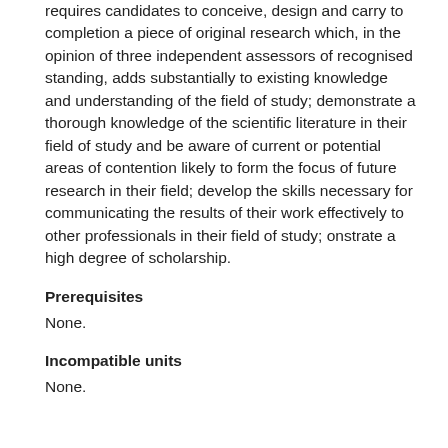requires candidates to conceive, design and carry to completion a piece of original research which, in the opinion of three independent assessors of recognised standing, adds substantially to existing knowledge and understanding of the field of study; demonstrate a thorough knowledge of the scientific literature in their field of study and be aware of current or potential areas of contention likely to form the focus of future research in their field; develop the skills necessary for communicating the results of their work effectively to other professionals in their field of study; onstrate a high degree of scholarship.
Prerequisites
None.
Incompatible units
None.